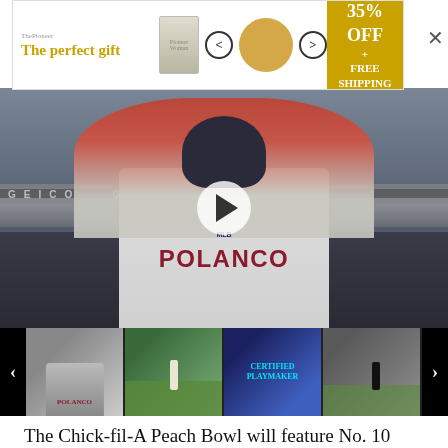[Figure (screenshot): Advertisement banner: 'The perfect gift' with product images, navigation arrows, and '35% OFF + FREE SHIPPING' offer]
[Figure (photo): Baseball player with jersey name 'POLANCO' raising arms with red batting gloves, Minnesota Twins uniform, video player overlay with play button]
[Figure (screenshot): Thumbnail strip with four video thumbnails: Polanco celebration, baseball field play, basketball/Certified Playmaker graphic, baseball pitcher on field]
The Chick-fil-A Peach Bowl will feature No. 10 Michigan State taking on No. 12 Pittsburgh on Dec. 30 in Atlanta, but two superstar players won't be part of the game.